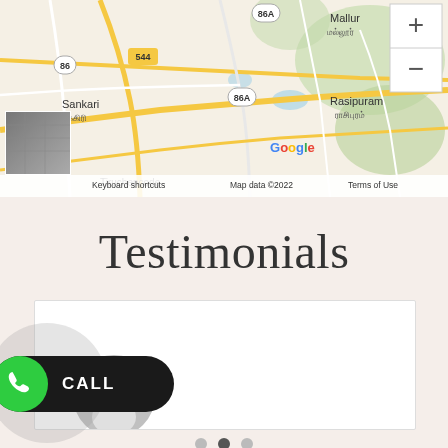[Figure (map): Google Maps screenshot showing region around Sankari (சங்ககிரி), Rasipuram (ராசிபுரம்), Mallur (மல்லூர்), Tiruchencode area in Tamil Nadu, India. Shows roads, highway shields (86, 86A, 544), Google logo, zoom controls, map thumbnail inset, and bottom bar with Keyboard shortcuts, Map data ©2022, Terms of Use.]
Testimonials
[Figure (other): Testimonial card with avatar placeholder (gray circle with person silhouette) in bottom-left area. White bordered card, empty content area.]
[Figure (other): Pagination dots: three dots, second one (middle) is active/dark, first and third are gray.]
[Figure (other): CALL button widget: green circle phone icon on dark pill-shaped background with CALL text in white, overlapping a large translucent gray circle.]